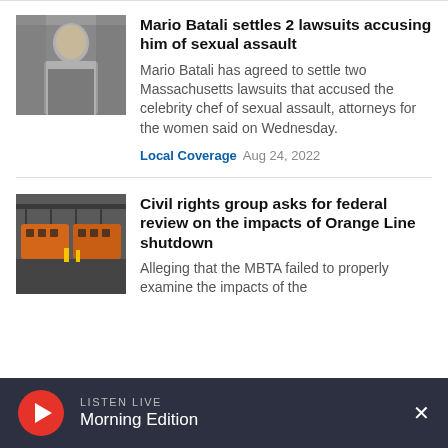[Figure (photo): Headshot photo of Mario Batali in a courtroom setting]
Mario Batali settles 2 lawsuits accusing him of sexual assault
Mario Batali has agreed to settle two Massachusetts lawsuits that accused the celebrity chef of sexual assault, attorneys for the women said on Wednesday.
Local Coverage  Aug 24, 2022
[Figure (photo): Orange Line MBTA trains in a maintenance facility or yard]
Civil rights group asks for federal review on the impacts of Orange Line shutdown
Alleging that the MBTA failed to properly examine the impacts of the
LISTEN LIVE  Morning Edition